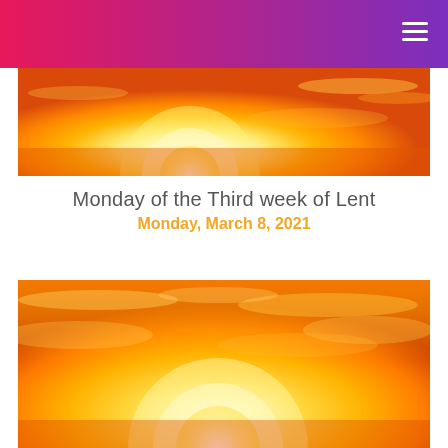[Figure (photo): Sunset photo showing a bright golden sun against an orange and yellow sky with light clouds]
Monday of the Third week of Lent
Monday, March 8, 2021
[Figure (photo): Sunset photo showing a bright golden sun low on the horizon against an orange and yellow sky with clouds]